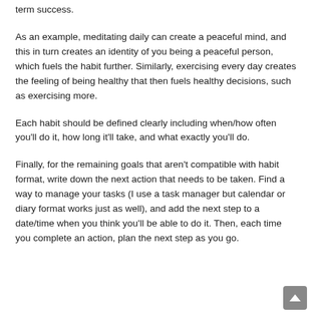term success.
As an example, meditating daily can create a peaceful mind, and this in turn creates an identity of you being a peaceful person, which fuels the habit further. Similarly, exercising every day creates the feeling of being healthy that then fuels healthy decisions, such as exercising more.
Each habit should be defined clearly including when/how often you'll do it, how long it'll take, and what exactly you'll do.
Finally, for the remaining goals that aren't compatible with habit format, write down the next action that needs to be taken. Find a way to manage your tasks (I use a task manager but calendar or diary format works just as well), and add the next step to a date/time when you think you'll be able to do it. Then, each time you complete an action, plan the next step as you go.